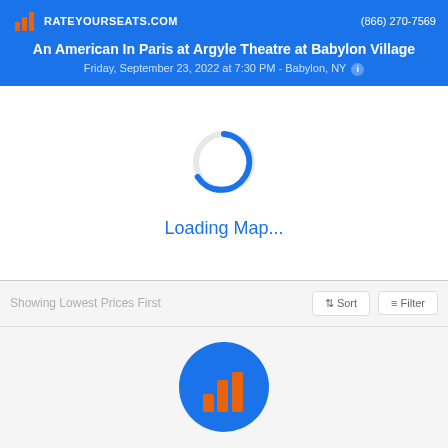RATEYOURSEATS.COM | (866) 270-7569 | An American In Paris at Argyle Theatre at Babylon Village | Friday, September 23, 2022 at 7:30 PM - Babylon, NY
[Figure (illustration): Blue circular loading spinner animation]
Loading Map...
Showing Lowest Prices First
Sort | Filter
[Figure (logo): RateYourSeats logo: blue circle with orange bar chart icon]
Searching for the best seats and the lowest prices...